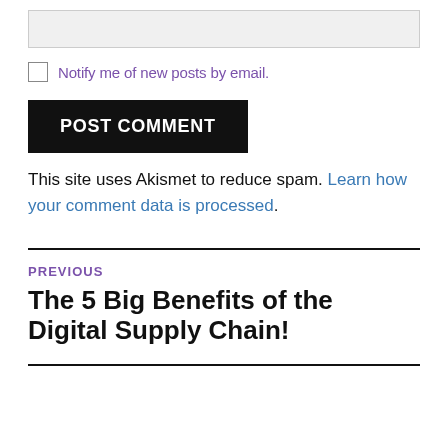[input box / text field]
Notify me of new posts by email.
POST COMMENT
This site uses Akismet to reduce spam. Learn how your comment data is processed.
PREVIOUS
The 5 Big Benefits of the Digital Supply Chain!